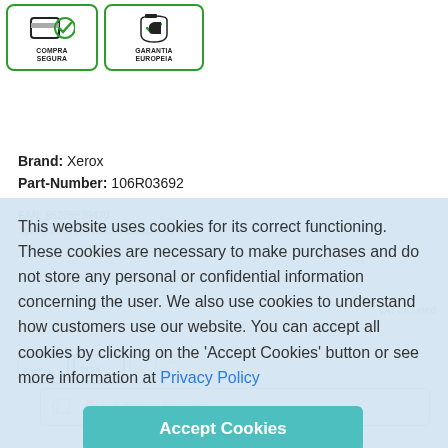[Figure (logo): Two trust badges: 'COMPRA SEGURA' with shield/card icon and 'GARANTIA EUROPEIA' with thumbs-up icon, both in green borders]
Brand: Xerox
Part-Number: 106R03692
EAN: 95205839470
This website uses cookies for its correct functioning. These cookies are necessary to make purchases and do not store any personal or confidential information concerning the user. We also use cookies to understand how customers use our website. You can accept all cookies by clicking on the 'Accept Cookies' button or see more information at Privacy Policy
Accept Cookies